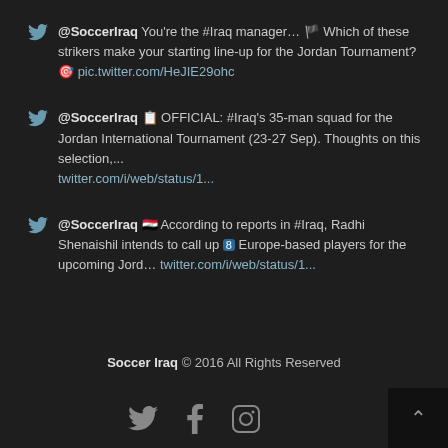@SoccerIraq You're the #Iraq manager… Which of these strikers make your starting line-up for the Jordan Tournament? pic.twitter.com/HeJIE29ohc
@SoccerIraq OFFICIAL: #Iraq's 35-man squad for the Jordan International Tournament (23-27 Sep). Thoughts on this selection,... twitter.com/i/web/status/1...
@SoccerIraq According to reports in #Iraq, Radhi Shenaishil intends to call up 8 Europe-based players for the upcoming Jord... twitter.com/i/web/status/1...
Soccer Iraq © 2016 All Rights Reserved